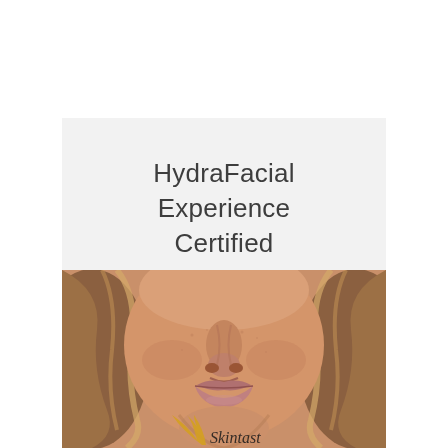HydraFacial Experience Certified
[Figure (photo): Close-up photo of a woman's lower face (nose, lips, chin) with wavy blonde-highlighted hair, looking straight into the camera. A partial logo with a stylized golden wing/feather shape and italic script text reading 'Skintastic' (partially visible) appears at the bottom of the image.]